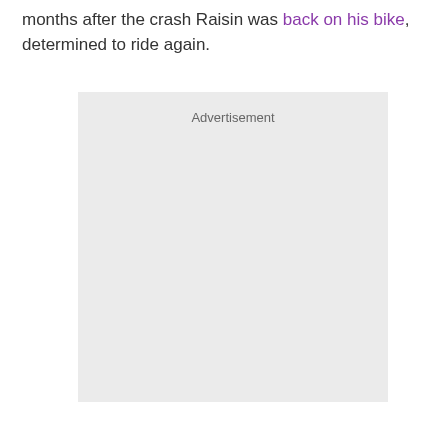months after the crash Raisin was back on his bike, determined to ride again.
[Figure (other): Advertisement placeholder box with light gray background and 'Advertisement' label text at top center]